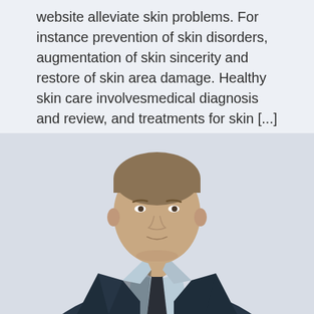Website alleviate skin problems. For instance prevention of skin disorders, augmentation of skin sincerity and restore of skin area damage. Healthy skin care involvesmedical diagnosis and review, and treatments for skin [...]
READ MORE →
[Figure (photo): A man in a dark suit and tie, photographed from approximately chest level upward, face visible, against a light background.]